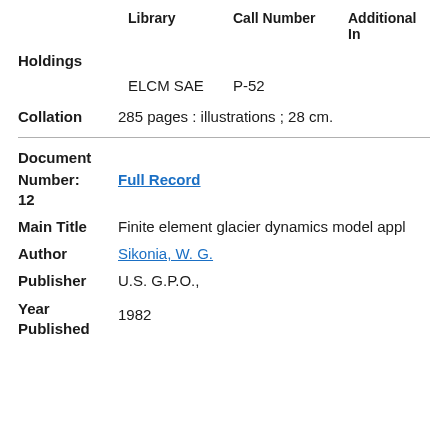|  | Library | Call Number | Additional In |
| --- | --- | --- | --- |
| Holdings |  |  |  |
|  | ELCM SAE | P-52 |  |
Collation   285 pages : illustrations ; 28 cm.
Document Number: Full Record
12
Main Title   Finite element glacier dynamics model appl
Author   Sikonia, W. G.
Publisher   U.S. G.P.O.,
Year Published   1982